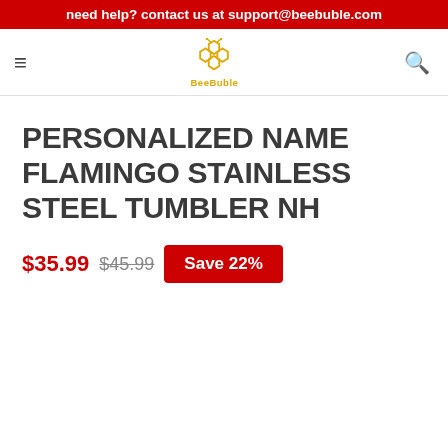need help? contact us at support@beebuble.com
[Figure (logo): BeeBuble logo with honeycomb bee icon in orange/gold and text 'BeeBuble' below]
PERSONALIZED NAME FLAMINGO STAINLESS STEEL TUMBLER NH
$35.99  $45.99  Save 22%